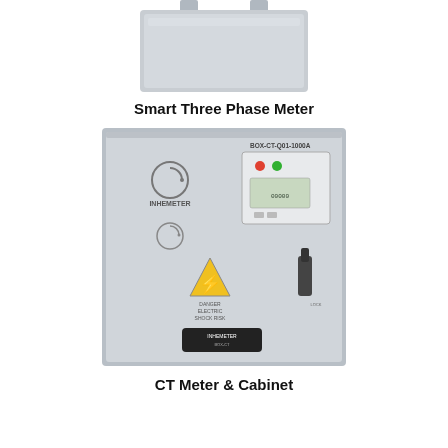[Figure (photo): Smart Three Phase Meter device - top portion visible, grey rectangular device]
Smart Three Phase Meter
[Figure (photo): CT Meter & Cabinet - grey electrical cabinet with INHEMETER logo, BOX-CT-Q01-1000A label, electric shock danger warning sign, meter display, and locking mechanism]
CT Meter & Cabinet